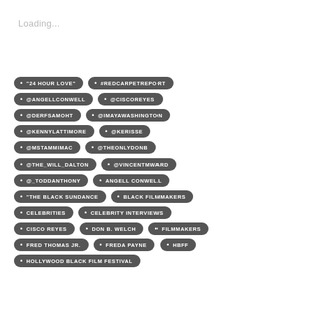Loading...
"24 HOUR LOVE"
#REDCARPETREPORT
@ANGELLCONWELL
@CISCOREYES
@DERFSAMOHT
@IMAYAWASHINGTON
@KENNYLATTIMORE
@KERISSE
@MSTAMMIMAC
@THEONLYDONB
@THE_WILL_DALTON
@VINCENTMWARD
@_TODDANTHONY
ANGELL CONWELL
"THE BLACK SUNDANCE
BLACK FILMMAKERS
CELEBRITIES
CELEBRITY INTERVIEWS
CISCO REYES
DON B. WELCH
FILMMAKERS
FRED THOMAS JR.
FREDA PAYNE
HBFF
HOLLYWOOD BLACK FILM FESTIVAL